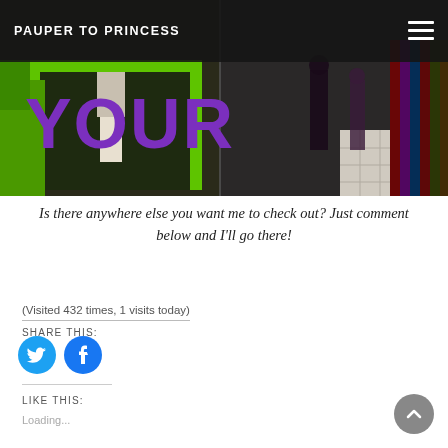PAUPER TO PRINCESS
[Figure (photo): Shopping street scene with green-framed store windows and mannequins; purple text overlay reading 'YOUR']
Is there anywhere else you want me to check out? Just comment below and I'll go there!
(Visited 432 times, 1 visits today)
SHARE THIS:
[Figure (illustration): Twitter and Facebook social share icon buttons (blue circles)]
LIKE THIS:
Loading...